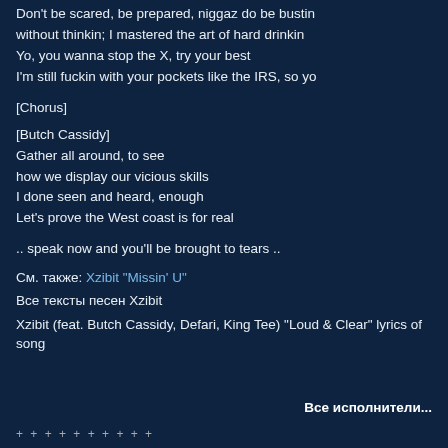Don't be scared, be prepared, niggaz do be bustin without thinkin; I mastered the art of hard drinkin Yo, you wanna stop the X, try your best I'm still fuckin with your pockets like the IRS, so yo
[Chorus]
[Butch Cassidy] Gather all around, to see how we display our vicious skills I done seen and heard, enough Let's prove the West coast is for real
.. speak now and you'll be brought to tears ..
См. также: Xzibit "Missin' U"
Все тексты песен Xzibit
Xzibit (feat. Butch Cassidy, Defari, King Tee) "Loud & Clear" lyrics of song
Все исполнители...
+ + + + + + + + + +
Добавить комментарий